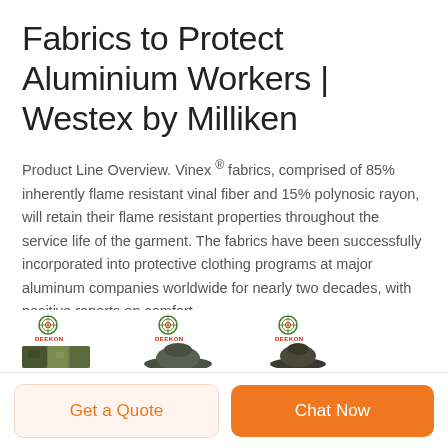Fabrics to Protect Aluminium Workers | Westex by Milliken
Product Line Overview. Vinex ® fabrics, comprised of 85% inherently flame resistant vinal fiber and 15% polynosic rayon, will retain their flame resistant properties throughout the service life of the garment. The fabrics have been successfully incorporated into protective clothing programs at major aluminum companies worldwide for nearly two decades, with positive reports on comfort.
[Figure (photo): Three product thumbnails each with a Deekon logo above them, showing camouflage and dark-colored fabric/hat products.]